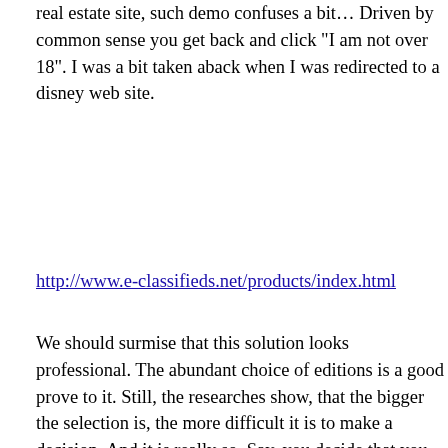real estate site, such demo confuses a bit… Driven by common sense you get back and click "I am not over 18". I was a bit taken aback when I was redirected to a disney web site.
http://www.e-classifieds.net/products/index.html
We should surmise that this solution looks professional. The abundant choice of editions is a good prove to it. Still, the researches show, that the bigger the selection is, the more difficult it is to make a decision. And it is really so. Say, you decide that you need one solution and proceed to the following edition to make sure you did not skip the features that are necessary to your online business. And it turns out that you did. You change the decision. While you proceed to the third one, you might discover that it has the features of the second edition, but lacks for the features of the first. You feel frustrated.